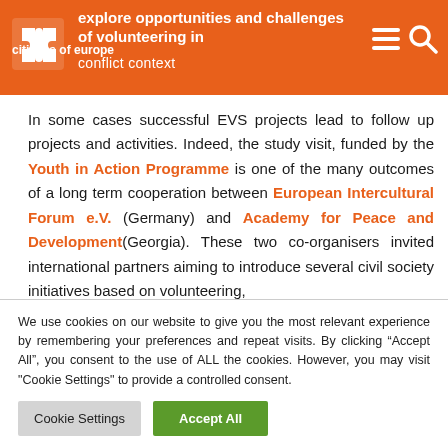citizens of europe — explore opportunities and challenges of volunteering in conflict context
In some cases successful EVS projects lead to follow up projects and activities. Indeed, the study visit, funded by the Youth in Action Programme is one of the many outcomes of a long term cooperation between European Intercultural Forum e.V. (Germany) and Academy for Peace and Development(Georgia). These two co-organisers invited international partners aiming to introduce several civil society initiatives based on volunteering, to stimulate a reflection about methods and ways to improve…
We use cookies on our website to give you the most relevant experience by remembering your preferences and repeat visits. By clicking "Accept All", you consent to the use of ALL the cookies. However, you may visit "Cookie Settings" to provide a controlled consent.